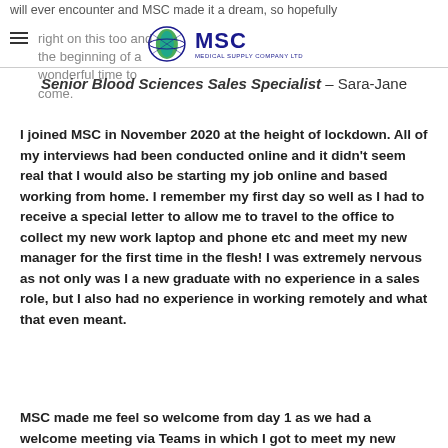will ever encounter and MSC made it a dream, so hopefully right on this too and the beginning of a wonderful time to come.
[Figure (logo): MSC Medical Supply Company Ltd logo with globe icon and blue text]
Senior Blood Sciences Sales Specialist – Sara-Jane
I joined MSC in November 2020 at the height of lockdown. All of my interviews had been conducted online and it didn't seem real that I would also be starting my job online and based working from home. I remember my first day so well as I had to receive a special letter to allow me to travel to the office to collect my new work laptop and phone etc and meet my new manager for the first time in the flesh! I was extremely nervous as not only was I a new graduate with no experience in a sales role, but I also had no experience in working remotely and what that even meant.
MSC made me feel so welcome from day 1 as we had a welcome meeting via Teams in which I got to meet my new